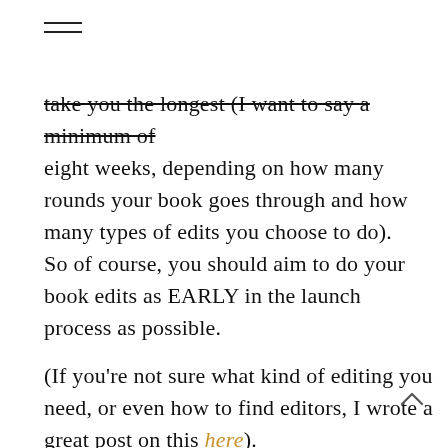≡
take you the longest (I want to say a minimum of eight weeks, depending on how many rounds your book goes through and how many types of edits you choose to do).
So of course, you should aim to do your book edits as EARLY in the launch process as possible.
(If you're not sure what kind of editing you need, or even how to find editors, I wrote a great post on this here).